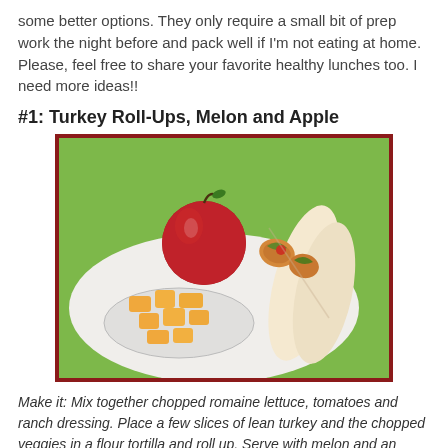some better options. They only require a small bit of prep work the night before and pack well if I'm not eating at home. Please, feel free to share your favorite healthy lunches too. I need more ideas!!
#1: Turkey Roll-Ups, Melon and Apple
[Figure (photo): A plate with two turkey roll-up wraps cut diagonally, a red apple, and a bowl of cubed cantaloupe melon pieces, on a white plate with a green background.]
Make it: Mix together chopped romaine lettuce, tomatoes and ranch dressing. Place a few slices of lean turkey and the chopped veggies in a flour tortilla and roll up. Serve with melon and an apple.